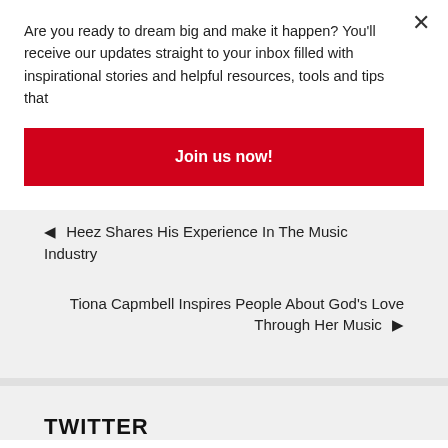Are you ready to dream big and make it happen? You'll receive our updates straight to your inbox filled with inspirational stories and helpful resources, tools and tips that
Join us now!
◄ Heez Shares His Experience In The Music Industry
Tiona Capmbell Inspires People About God's Love Through Her Music ►
TWITTER